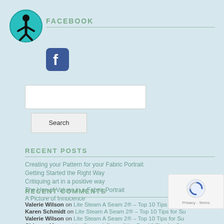[Figure (logo): Accessibility icon: teal circle with white human figure inside]
FACEBOOK
[Figure (logo): Facebook icon: blue square with white 'f' letter]
[Figure (other): Search input box (white rectangle)]
Search
RECENT POSTS
Creating your Pattern for your Fabric Portrait
Getting Started the Right Way
Critiquing art in a positive way
The Use of Values in a Fabric Portrait
A Picture of Innocence
RECENT COMMENTS
Valerie Wilson on Lite Steam A Seam 2® – Top 10 Tips for Su
Karen Schmidt on Lite Steam A Seam 2® – Top 10 Tips for Su
Valerie Wilson on Lite Steam A Seam 2® – Top 10 Tips for Su
Chicago Mom on Lite Steam A Seam 2® – Top 10 Tips for Success